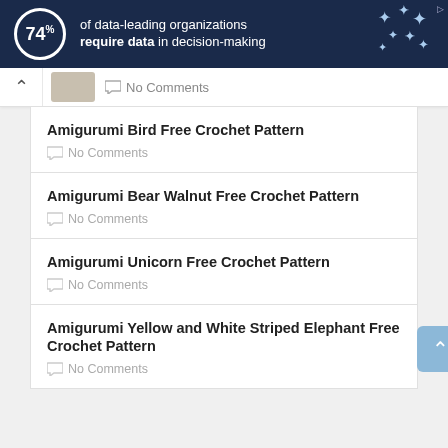[Figure (infographic): Ad banner: dark navy background with circular '74%' stat, text 'of data-leading organizations require data in decision-making', decorative star/plus symbols on the right.]
No Comments
Amigurumi Bird Free Crochet Pattern
No Comments
Amigurumi Bear Walnut Free Crochet Pattern
No Comments
Amigurumi Unicorn Free Crochet Pattern
No Comments
Amigurumi Yellow and White Striped Elephant Free Crochet Pattern
No Comments